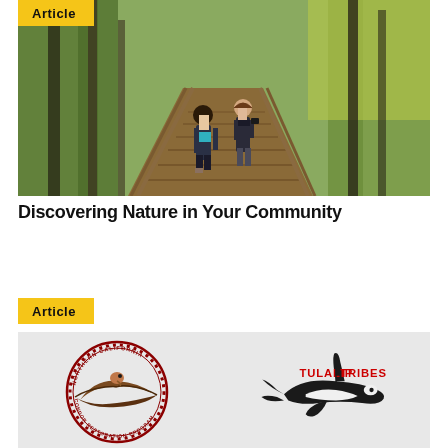[Figure (photo): Two people standing on a wooden boardwalk in a forested area, autumn trees in background]
Discovering Nature in Your Community
[Figure (logo): Northern California Condor Restoration Program logo (condor in flight, circular badge) and Tulalip Tribes logo (orca whale with tribal art style)]